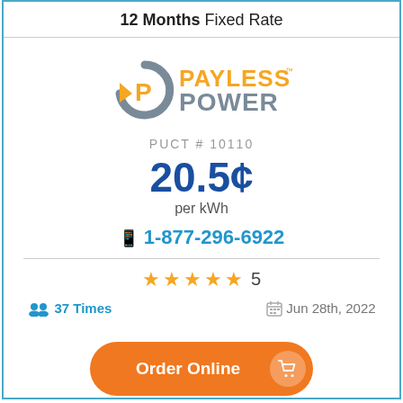12 Months Fixed Rate
[Figure (logo): Payless Power logo with circular arrow P icon in grey/gold and orange text]
PUCT # 10110
20.5¢ per kWh
1-877-296-6922
★★★★★ 5
37 Times
Jun 28th, 2022
Order Online